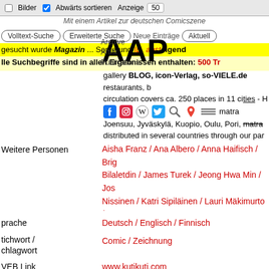Bilder | Abwärts sortieren | Anzeige 50
Mit einem Artikel zur deutschen Comicszene
Volltext-Suche | Erweiterte Suche | Neue Einträge | Aktuell
gesucht wurde Magazin ... Sortierung ID, absteigend
lle Suchbegriffe sind in allen Ergebnissen enthalten: 500 Tr
gallery BLOG, icon-Verlag, so-VIELE.de restaurants, bars, circulation covers ca. 250 places in 11 cities Joensuu, Jyväskylä, Kuopio, Oulu, Pori, Imatra distributed in several countries through our par Text von der Webseite
Weitere Personen: Aisha Franz / Ana Albero / Anna Haifisch / Brig Bilaletdin / James Turek / Jeong Hwa Min / Jos Nissinen / Katri Sipiläinen / Lauri Mäkimurto / L Schaller / Martin Ernstsen / Max Baitinger / Mic Luostarinen / Paul Paetzel / Reijo Kärkkäinen / Terhi Ekebom / Tiina Lehikoinen / Till Hafenbra
Sprache: Deutsch / Englisch / Finnisch
Stichwort / Schlagwort: Comic / Zeichnung
WEB Link: www.kutikuti.com
Geschenk von: Reinhard Grüner
Erworben bei: Cologne Art Book Fair